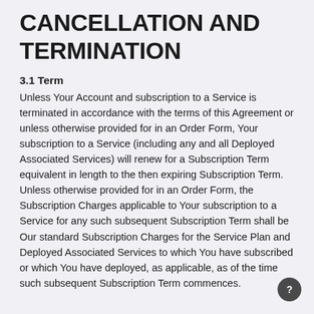CANCELLATION AND TERMINATION
3.1 Term
Unless Your Account and subscription to a Service is terminated in accordance with the terms of this Agreement or unless otherwise provided for in an Order Form, Your subscription to a Service (including any and all Deployed Associated Services) will renew for a Subscription Term equivalent in length to the then expiring Subscription Term. Unless otherwise provided for in an Order Form, the Subscription Charges applicable to Your subscription to a Service for any such subsequent Subscription Term shall be Our standard Subscription Charges for the Service Plan and Deployed Associated Services to which You have subscribed or which You have deployed, as applicable, as of the time such subsequent Subscription Term commences.